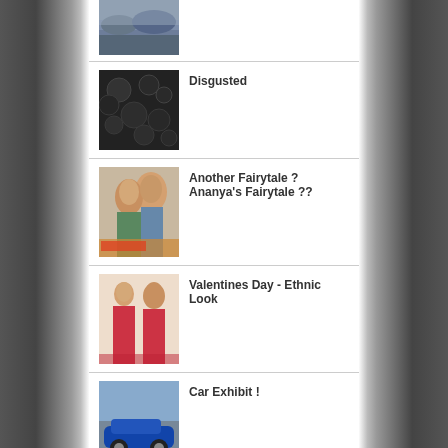[Figure (photo): Landscape/mountain scene thumbnail at top]
[Figure (photo): Dark textured pattern thumbnail]
Disgusted
[Figure (photo): Bollywood couple movie poster thumbnail]
Another Fairytale ? Ananya's Fairytale ??
[Figure (photo): Two women in ethnic Indian attire thumbnail]
Valentines Day - Ethnic Look
[Figure (photo): Blue sports car at exhibit thumbnail]
Car Exhibit !